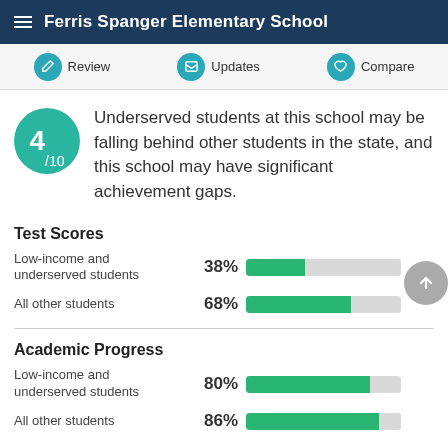Ferris Spanger Elementary School
[Figure (infographic): Navigation bar with Review, Updates, and Compare buttons]
4/10 — Underserved students at this school may be falling behind other students in the state, and this school may have significant achievement gaps.
Test Scores
[Figure (bar-chart): Test Scores]
Academic Progress
[Figure (bar-chart): Academic Progress]